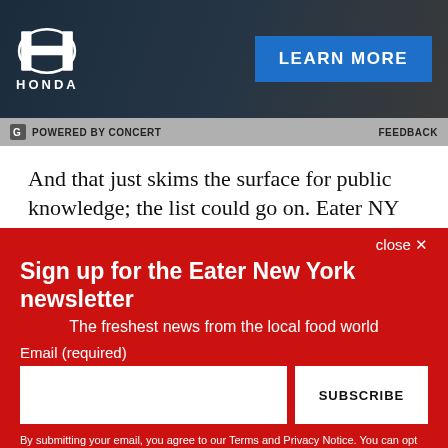[Figure (other): Honda advertisement banner with Honda logo on left and 'LEARN MORE' blue button on right, dark background]
POWERED BY CONCERT   FEEDBACK
And that just skims the surface for public knowledge; the list could go on. Eater NY frequently hears rumors of bad-actor investors and accusations of assault and misconduct. Then there are the restaurant investors who may not be known
close ×
Sign up for the Eater New York newsletter
The freshest news from the local food world
Email (required)
SUBSCRIBE
By submitting your email, you agree to our Terms and Privacy Notice. You can opt out at any time. This site is protected by reCAPTCHA and the Google Privacy Policy and Terms of Service apply.